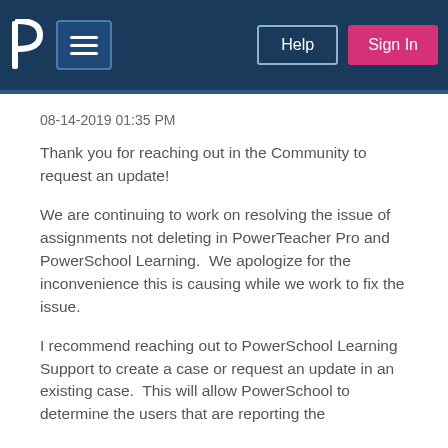PowerSchool Community — Help | Sign In
08-14-2019 01:35 PM
Thank you for reaching out in the Community to request an update!
We are continuing to work on resolving the issue of assignments not deleting in PowerTeacher Pro and PowerSchool Learning.  We apologize for the inconvenience this is causing while we work to fix the issue.
I recommend reaching out to PowerSchool Learning Support to create a case or request an update in an existing case.  This will allow PowerSchool to determine the users that are reporting the